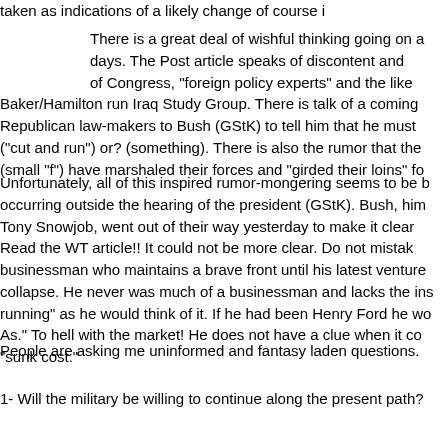taken as indications of a likely change of course i
There is a great deal of wishful thinking going on a days. The Post article speaks of discontent and of Congress, "foreign policy experts" and the like Baker/Hamilton run Iraq Study Group. There is talk of a coming Republican law-makers to Bush (GStK) to tell him that he must ("cut and run") or? (something). There is also the rumor that the (small "f") have marshaled their forces and "girded their loins" fo
Unfortunately, all of this inspired rumor-mongering seems to be b occurring outside the hearing of the president (GStK). Bush, him Tony Snowjob, went out of their way yesterday to make it clear Read the WT article!! It could not be more clear. Do not mistak businessman who maintains a brave front until his latest venture collapse. He never was much of a businessman and lacks the ins running" as he would think of it. If he had been Henry Ford he wo As." To hell with the market! He does not have a clue when it co "sunk cost."
People are asking me uninformed and fantasy laden questions.
1- Will the military be willing to continue along the present path?